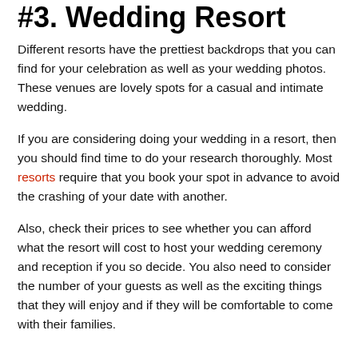#3. Wedding Resort
Different resorts have the prettiest backdrops that you can find for your celebration as well as your wedding photos. These venues are lovely spots for a casual and intimate wedding.
If you are considering doing your wedding in a resort, then you should find time to do your research thoroughly. Most resorts require that you book your spot in advance to avoid the crashing of your date with another.
Also, check their prices to see whether you can afford what the resort will cost to host your wedding ceremony and reception if you so decide. You also need to consider the number of your guests as well as the exciting things that they will enjoy and if they will be comfortable to come with their families.